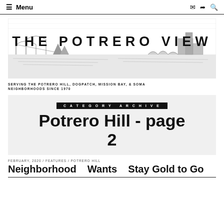Menu
[Figure (logo): The Potrero View newspaper logo banner with sketch illustration of the bay area skyline and bridges]
SERVING THE POTRERO HILL, DOGPATCH, MISSION BAY, & SOMA NEIGHBORHOODS SINCE 1970
CATEGORY ARCHIVE
Potrero Hill - page 2
FEBRUARY, 2020 / FEATURES / POTRERO HILL
Neighborhood Wants Stay Gold to Go